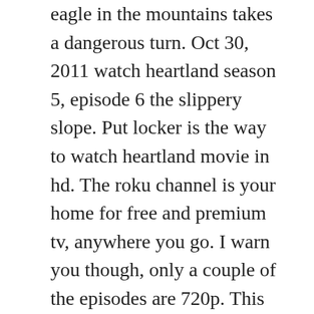eagle in the mountains takes a dangerous turn. Oct 30, 2011 watch heartland season 5, episode 6 the slippery slope. Put locker is the way to watch heartland movie in hd. The roku channel is your home for free and premium tv, anywhere you go. I warn you though, only a couple of the episodes are 720p. This is false advertisement stating we get the entire season 10 and 11 with our membership to up when in fact we do not. The show became the longestrunning onehour scripted drama canadian television history when it surpassed the 124 episodes of street legal on october 19,